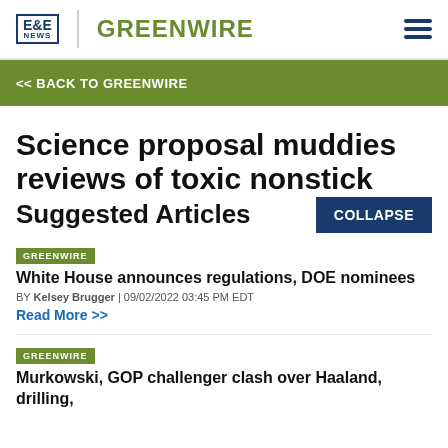E&E NEWS | GREENWIRE
<< BACK TO GREENWIRE
Science proposal muddies reviews of toxic nonstick
Suggested Articles
COLLAPSE
GREENWIRE
White House announces regulations, DOE nominees
BY Kelsey Brugger | 09/02/2022 03:45 PM EDT
Read More >>
GREENWIRE
Murkowski, GOP challenger clash over Haaland, drilling,